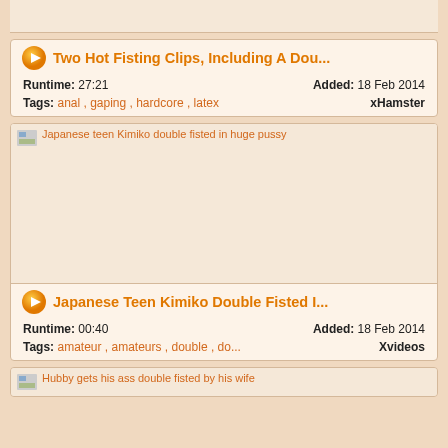[Figure (screenshot): Top card partially visible - thumbnail area]
Two Hot Fisting Clips, Including A Dou...
Runtime: 27:21    Added: 18 Feb 2014
Tags: anal , gaping , hardcore , latex    xHamster
[Figure (screenshot): Video thumbnail placeholder with alt text: Japanese teen Kimiko double fisted in huge pussy]
Japanese Teen Kimiko Double Fisted I...
Runtime: 00:40    Added: 18 Feb 2014
Tags: amateur , amateurs , double , do...    Xvideos
[Figure (screenshot): Partial thumbnail with alt text: Hubby gets his ass double fisted by his wife]